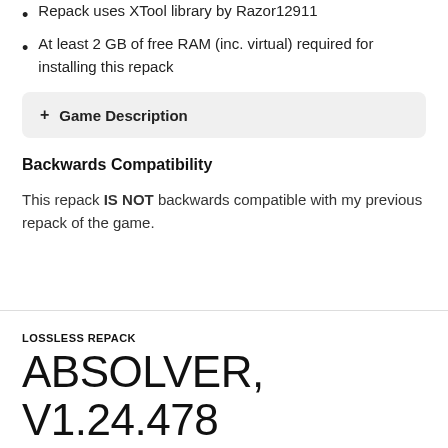Repack uses XTool library by Razor12911
At least 2 GB of free RAM (inc. virtual) required for installing this repack
+ Game Description
Backwards Compatibility
This repack IS NOT backwards compatible with my previous repack of the game.
LOSSLESS REPACK
ABSOLVER, V1.24.478